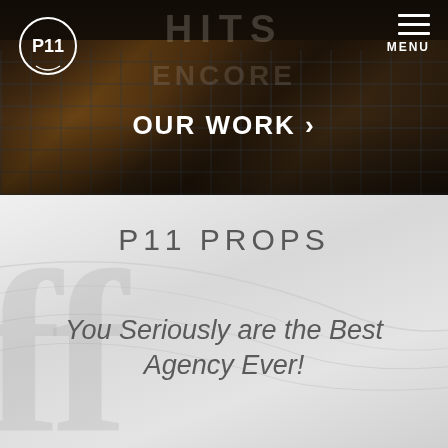[Figure (screenshot): Hero header section with dark overlay on building photograph. Faded text 'HITS' and 'ENCORE' visible in background. P11 logo circle at top left. Hamburger menu icon and MENU label at top right. 'OUR WORK >' navigation link centered.]
MENU
OUR WORK >
P11 PROPS
You Seriously are the Best Agency Ever!